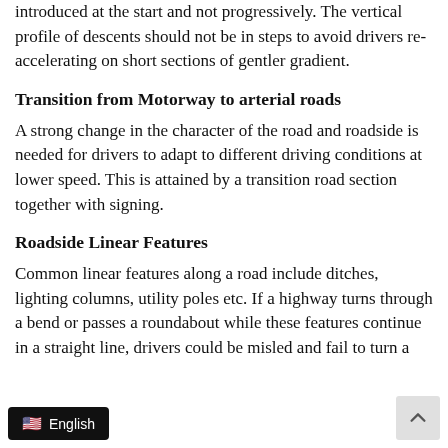introduced at the start and not progressively. The vertical profile of descents should not be in steps to avoid drivers re-accelerating on short sections of gentler gradient.
Transition from Motorway to arterial roads
A strong change in the character of the road and roadside is needed for drivers to adapt to different driving conditions at lower speed. This is attained by a transition road section together with signing.
Roadside Linear Features
Common linear features along a road include ditches, lighting columns, utility poles etc. If a highway turns through a bend or passes a roundabout while these features continue in a straight line, drivers could be misled and fail to turn a